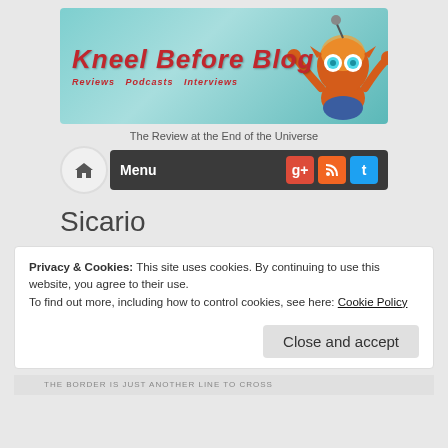[Figure (illustration): Kneel Before Blog website banner with teal/turquoise background, red stylized text reading 'Kneel Before Blog' with subtitle 'Reviews Podcasts Interviews', and a cartoon alien character on the right side.]
The Review at the End of the Universe
[Figure (screenshot): Navigation bar with home icon button, dark background Menu label, and social media icons for Google+, RSS, and Twitter]
Sicario
Privacy & Cookies: This site uses cookies. By continuing to use this website, you agree to their use.
To find out more, including how to control cookies, see here: Cookie Policy
Close and accept
[Figure (photo): Bottom strip showing partial movie poster image with text 'THE BORDER IS JUST ANOTHER LINE TO CROSS']